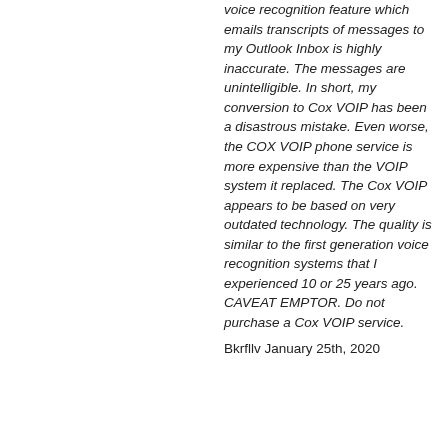voice recognition feature which emails transcripts of messages to my Outlook Inbox is highly inaccurate. The messages are unintelligible. In short, my conversion to Cox VOIP has been a disastrous mistake. Even worse, the COX VOIP phone service is more expensive than the VOIP system it replaced. The Cox VOIP appears to be based on very outdated technology. The quality is similar to the first generation voice recognition systems that I experienced 10 or 25 years ago. CAVEAT EMPTOR. Do not purchase a Cox VOIP service.
Bkrfllv January 25th, 2020